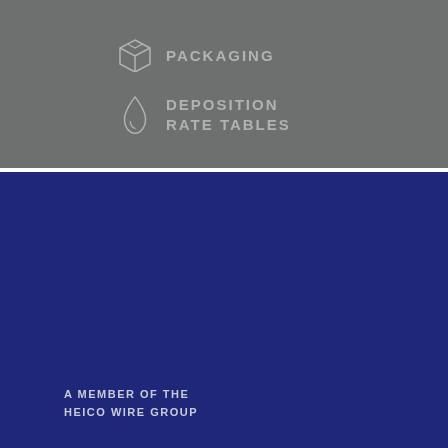[Figure (illustration): Packaging icon with box symbol and text PACKAGING on grey background]
[Figure (illustration): Deposition rate tables icon with water drop symbol and text DEPOSITION RATE TABLES on grey background]
A MEMBER OF THE
HEICO WIRE GROUP
About
Products
Resources
Careers
Contact
[Figure (illustration): Twitter and LinkedIn social media icons in light grey on dark blue background]